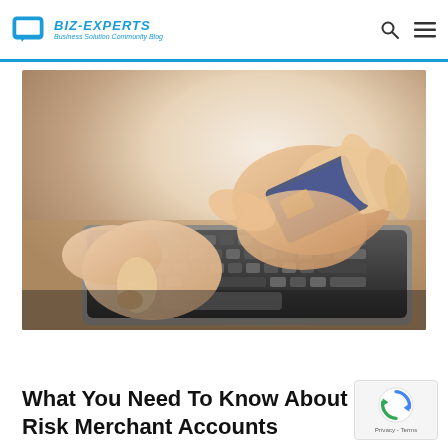BIZ-EXPERTS Business Solution Community Blog
[Figure (photo): Close-up photo of two hands at a laptop — one hand typing on the keyboard while the other holds a credit card, on a wooden surface background.]
What You Need To Know About Hi Risk Merchant Accounts